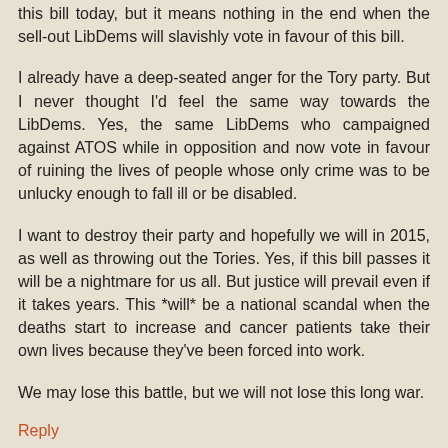this bill today, but it means nothing in the end when the sell-out LibDems will slavishly vote in favour of this bill.
I already have a deep-seated anger for the Tory party. But I never thought I'd feel the same way towards the LibDems. Yes, the same LibDems who campaigned against ATOS while in opposition and now vote in favour of ruining the lives of people whose only crime was to be unlucky enough to fall ill or be disabled.
I want to destroy their party and hopefully we will in 2015, as well as throwing out the Tories. Yes, if this bill passes it will be a nightmare for us all. But justice will prevail even if it takes years. This *will* be a national scandal when the deaths start to increase and cancer patients take their own lives because they've been forced into work.
We may lose this battle, but we will not lose this long war.
Reply
Anonymous 1 February 2012 at 13:27